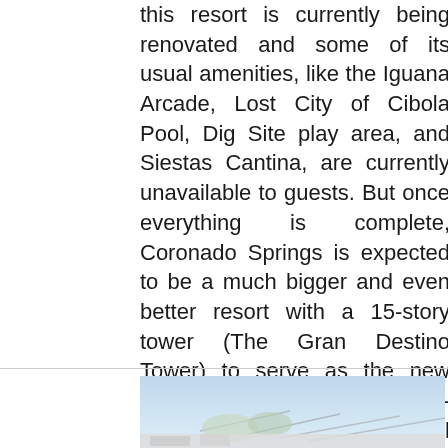this resort is currently being renovated and some of its usual amenities, like the Iguana Arcade, Lost City of Cibola Pool, Dig Site play area, and Siestas Cantina, are currently unavailable to guests. But once everything is complete, Coronado Springs is expected to be a much bigger and even better resort with a 15-story tower (The Gran Destino Tower) to serve as the new entrance, complete with a two-story lobby, 545 additional guest rooms (including 50 suites), and new dining opportunities added to the mix as well. Overall completion is slated for July 2019.
[Figure (photo): Partial photo of a resort building or structure, showing a light blue sky and what appears to be an architectural structure at the bottom of the frame.]